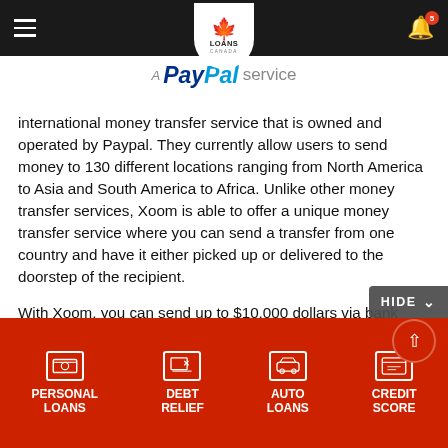Loans Canada navigation bar with hamburger menu and bell notification (5)
[Figure (logo): A PayPal Service banner with PayPal logo text in blue and grey]
international money transfer service that is owned and operated by Paypal. They currently allow users to send money to 130 different locations ranging from North America to Asia and South America to Africa. Unlike other money transfer services, Xoom is able to offer a unique money transfer service where you can send a transfer from one country and have it either picked up or delivered to the doorstep of the recipient.
With Xoom, you can send up to $10,000 dollars via bank deposit, app transfer or cash pick up. Recipients of a bank deposit or app transfer can expect their funds within 2- 3 business days, while cash pickups can be collected
PERSONAL LOANS | DEBT RELIEF | AUTO LOANS | CREDIT SCORE